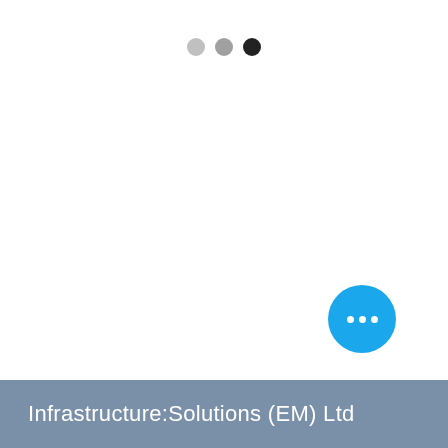[Figure (other): Three dots pagination/step indicator showing three circles: light gray, medium gray, and dark/black, indicating the third step or page is active]
[Figure (other): Blue circular floating action button with three white dots (ellipsis) in the center]
Infrastructure:Solutions (EM) Ltd